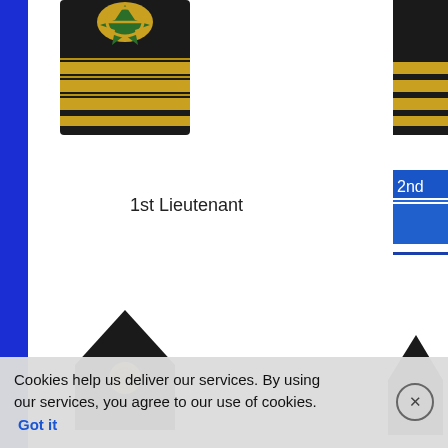[Figure (photo): Navy/maritime rank shoulder board with gold stripes and insignia on black background, left item]
[Figure (photo): Partial navy rank shoulder board visible on right edge, top]
1st Lieutenant
[Figure (photo): Partial blue rank insignia panel on right side]
[Figure (photo): Black epaulette/shoulder board with gold button, bottom left]
[Figure (photo): Partial black epaulette on bottom right]
Cookies help us deliver our services. By using our services, you agree to our use of cookies. Got it